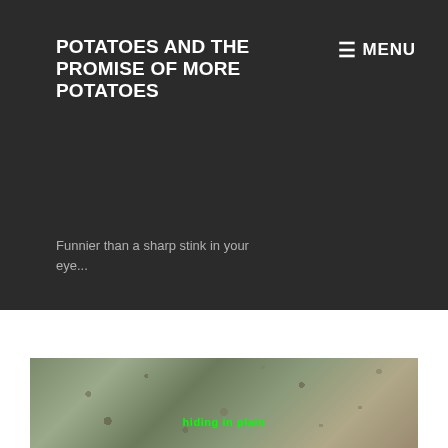POTATOES AND THE PROMISE OF MORE POTATOES
Funnier than a sharp stink in your eye...
≡ MENU
THE BURDENSOME DOCILITY OF THE SEA SNAKE
[Figure (photo): Close-up photo of sandy/muddy ground texture with green text overlay reading what appears to be 'hiding in plain' or similar text in bright green]